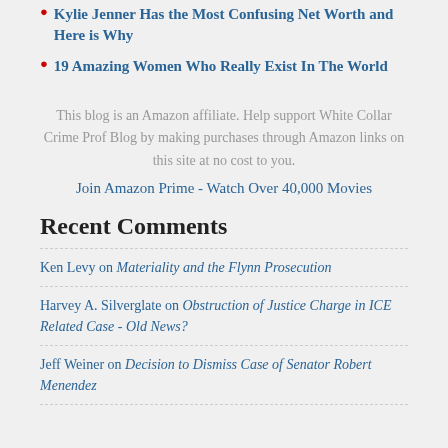Kylie Jenner Has the Most Confusing Net Worth and Here is Why
19 Amazing Women Who Really Exist In The World
This blog is an Amazon affiliate. Help support White Collar Crime Prof Blog by making purchases through Amazon links on this site at no cost to you.
Join Amazon Prime - Watch Over 40,000 Movies
Recent Comments
Ken Levy on Materiality and the Flynn Prosecution
Harvey A. Silverglate on Obstruction of Justice Charge in ICE Related Case - Old News?
Jeff Weiner on Decision to Dismiss Case of Senator Robert Menendez